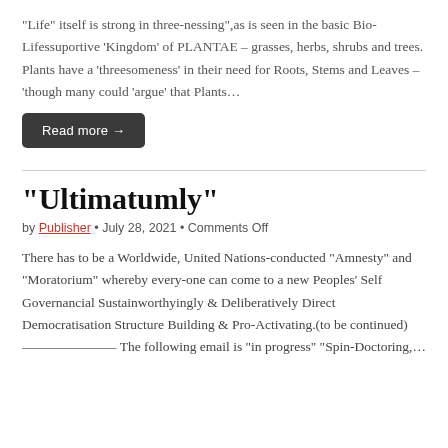“Life” itself is strong in three-nessing”,as is seen in the basic Bio-Lifessuportive ‘Kingdom’ of PLANTAE – grasses, herbs, shrubs and trees. Plants have a ‘threesomeness’ in their need for Roots, Stems and Leaves – ‘though many could ‘argue’ that Plants…
Read more →
“Ultimatumly”
by Publisher • July 28, 2021 • Comments Off
There has to be a Worldwide, United Nations-conducted “Amnesty” and “Moratorium” whereby every-one can come to a new Peoples’ Self Governancial Sustainworthyingly & Deliberatively Direct Democratisation Structure Building & Pro-Activating.(to be continued) ————— The following email is “in progress” “Spin-Doctoring,…